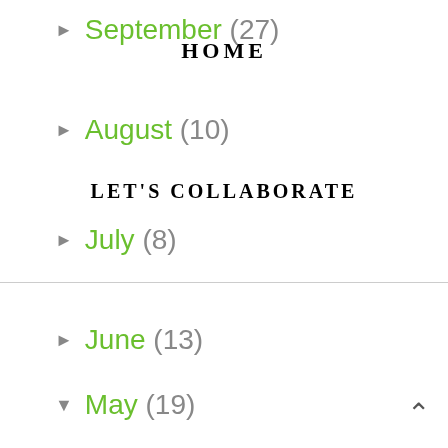► September (27)
HOME
► August (10)
LET'S COLLABORATE
► July (8)
► June (13)
▼ May (19)
Ten Guilty Pleasures
My little fertilizer baby
One month and counting
Same drive, different view